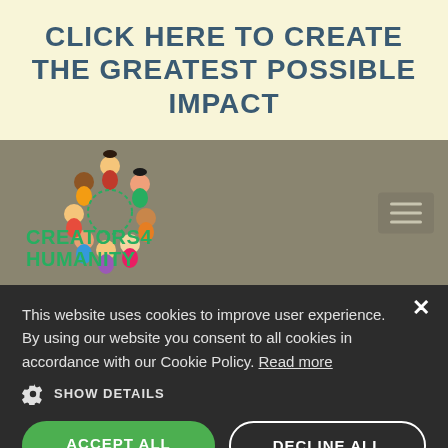CLICK HERE TO CREATE THE GREATEST POSSIBLE IMPACT
[Figure (logo): Creators4Humanity logo with cartoon diverse children figures arranged in a circle above the text 'Creators4 Humanity' in green bold font]
[Figure (photo): Colorful radial light streaks background strip in red, orange, yellow, green, blue, and purple colors]
This website uses cookies to improve user experience. By using our website you consent to all cookies in accordance with our Cookie Policy. Read more
SHOW DETAILS
ACCEPT ALL
DECLINE ALL
POWERED BY COOKIE-SCRIPT